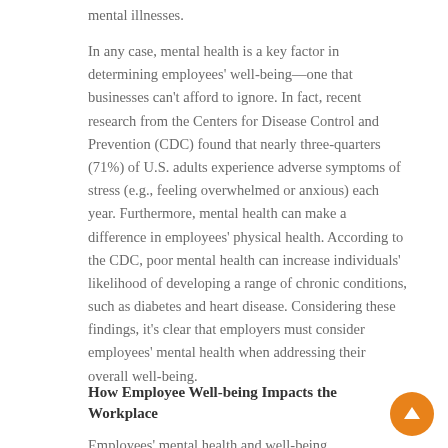mental illnesses.
In any case, mental health is a key factor in determining employees' well-being—one that businesses can't afford to ignore. In fact, recent research from the Centers for Disease Control and Prevention (CDC) found that nearly three-quarters (71%) of U.S. adults experience adverse symptoms of stress (e.g., feeling overwhelmed or anxious) each year. Furthermore, mental health can make a difference in employees' physical health. According to the CDC, poor mental health can increase individuals' likelihood of developing a range of chronic conditions, such as diabetes and heart disease. Considering these findings, it's clear that employers must consider employees' mental health when addressing their overall well-being.
How Employee Well-being Impacts the Workplace
Employees' mental health and well-being